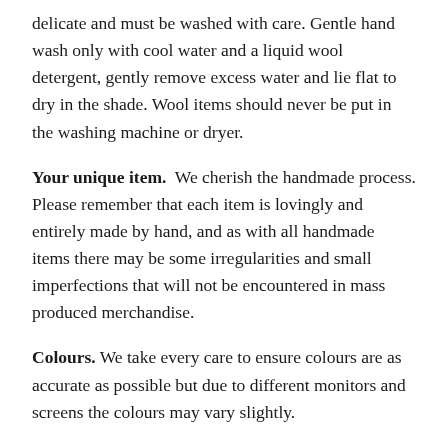delicate and must be washed with care. Gentle hand wash only with cool water and a liquid wool detergent, gently remove excess water and lie flat to dry in the shade. Wool items should never be put in the washing machine or dryer.
Your unique item.  We cherish the handmade process. Please remember that each item is lovingly and entirely made by hand, and as with all handmade items there may be some irregularities and small imperfections that will not be encountered in mass produced merchandise.
Colours.  We take every care to ensure colours are as accurate as possible but due to different monitors and screens the colours may vary slightly.
Will my wool item pill or bobble?  As with all wool items pilling may occur. A wool shaver will ensure that your product remains smooth and pill-free